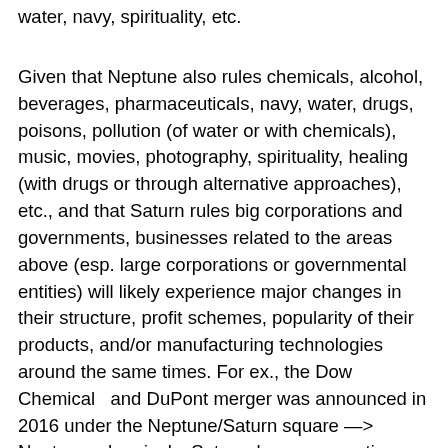water, navy, spirituality, etc.
Given that Neptune also rules chemicals, alcohol, beverages, pharmaceuticals, navy, water, drugs, poisons, pollution (of water or with chemicals), music, movies, photography, spirituality, healing (with drugs or through alternative approaches), etc., and that Saturn rules big corporations and governments, businesses related to the areas above (esp. large corporations or governmental entities) will likely experience major changes in their structure, profit schemes, popularity of their products, and/or manufacturing technologies around the same times. For ex., the Dow Chemical  and DuPont merger was announced in 2016 under the Neptune/Saturn square —> Neptune=chemicals, Saturn=large corporations, square=forcibly breaking an old pattern. We may hear about other Neptunian businesses or products undergoing